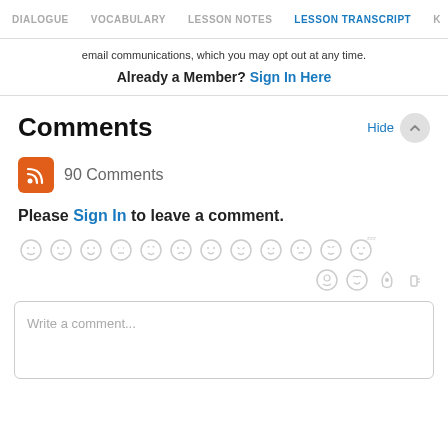DIALOGUE  VOCABULARY  LESSON NOTES  LESSON TRANSCRIPT  K
email communications, which you may opt out at any time.
Already a Member? Sign In Here
Comments
90 Comments
Please Sign In to leave a comment.
[Figure (other): Row of emoji/emoticon icons for comment reactions, shown in light gray]
Write a comment...